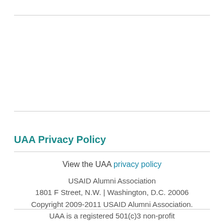UAA Privacy Policy
View the UAA privacy policy
USAID Alumni Association
1801 F Street, N.W. | Washington, D.C. 20006
Copyright 2009-2011 USAID Alumni Association.
UAA is a registered 501(c)3 non-profit
This is not an official U.S. Government website and is not directly related to USAID.
[Figure (logo): Starfield Technologies Verified & Secured badge with lock icon and Verify Security text, with registered trademark symbol]